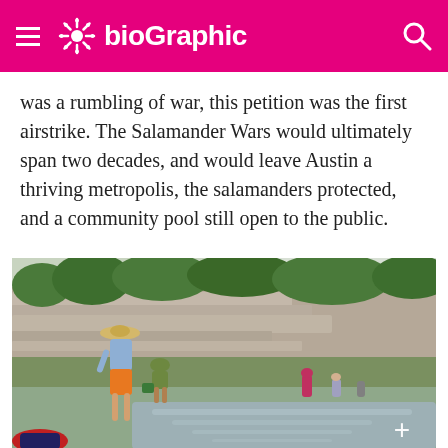bioGraphic
was a rumbling of war, this petition was the first airstrike. The Salamander Wars would ultimately span two decades, and would leave Austin a thriving metropolis, the salamanders protected, and a community pool still open to the public.
[Figure (photo): People wading and crouching along a rocky creek or river bank, examining the water and ground near a limestone cliff face with green vegetation on top. One person in a straw hat and orange shorts is prominently visible in the foreground.]